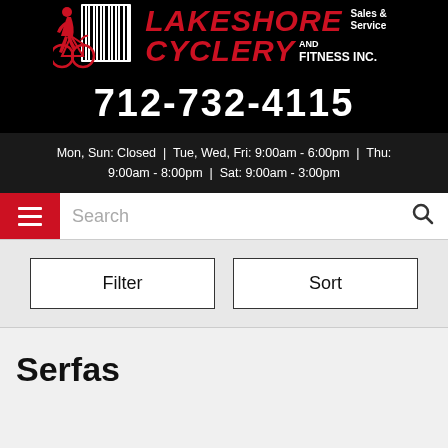[Figure (logo): Lakeshore Cyclery and Fitness Inc. logo with bicycle silhouette, barcode graphic, red and white text on black background. Phone number 712-732-4115. Hours listed.]
Mon, Sun: Closed | Tue, Wed, Fri: 9:00am - 6:00pm | Thu: 9:00am - 8:00pm | Sat: 9:00am - 3:00pm
Filter
Sort
Serfas